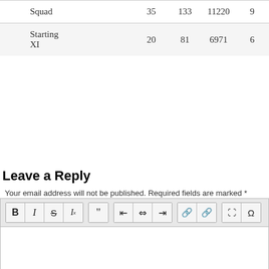|  |  |  |  |  |
| --- | --- | --- | --- | --- |
| Squad | 35 | 133 | 11220 | 9 |
| Starting XI | 20 | 81 | 6971 | 6 |
Leave a Reply
Your email address will not be published. Required fields are marked *
[Figure (screenshot): Rich text editor toolbar with formatting buttons: Bold, Italic, Strikethrough, Italic-subscript, Blockquote, Align left, Align center, Align right, Link, Unlink, Image, Special character (Omega)]